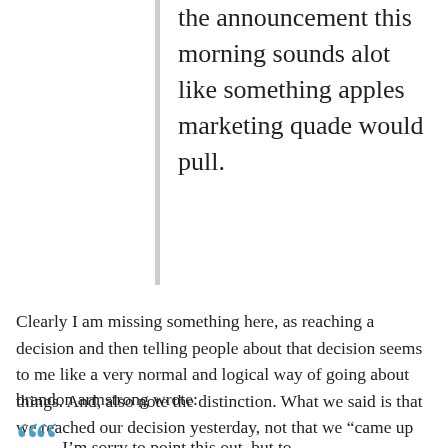the announcement this morning sounds alot like something apples marketing quade would pull.
Clearly I am missing something here, as reaching a decision and then telling people about that decision seems to me like a very normal and logical way of going about things. And, also note the distinction. What we said is that we reached our decision yesterday, not that we “came up with this yesterday”.
brandon armstrong wrote:
““ I’m sorry to point this out, but to